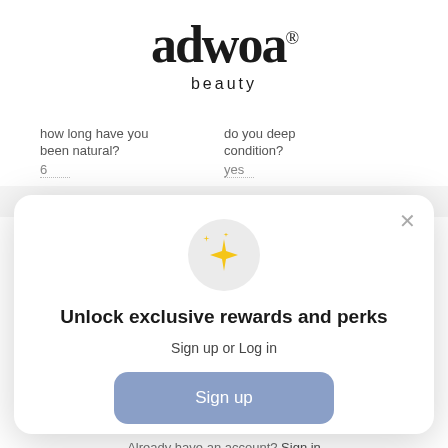adwoa beauty
how long have you been natural?
do you deep condition?
6
yes
how old are you?
would you
[Figure (screenshot): Modal popup with sparkle icon, title 'Unlock exclusive rewards and perks', subtitle 'Sign up or Log in', a blue 'Sign up' button, and footer text 'Already have an account? Sign in'. Close X button in top right.]
Unlock exclusive rewards and perks
Sign up or Log in
Sign up
Already have an account? Sign in